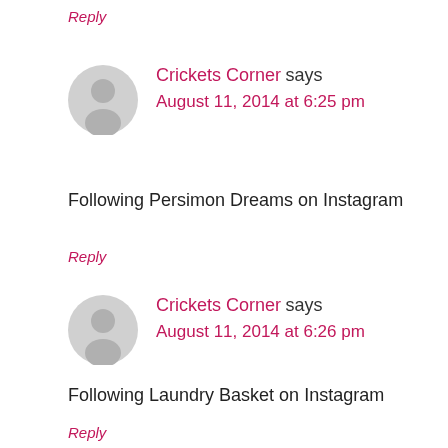Reply
Crickets Corner says
August 11, 2014 at 6:25 pm
Following Persimon Dreams on Instagram
Reply
Crickets Corner says
August 11, 2014 at 6:26 pm
Following Laundry Basket on Instagram
Reply